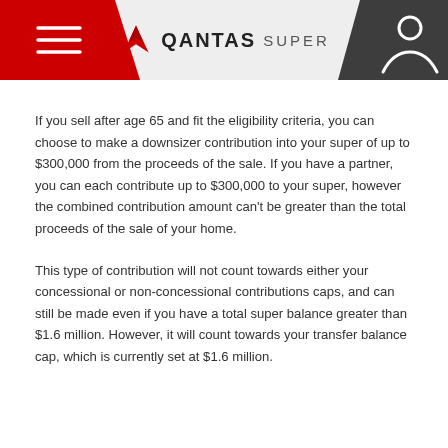QANTAS SUPER
If you sell after age 65 and fit the eligibility criteria, you can choose to make a downsizer contribution into your super of up to $300,000 from the proceeds of the sale. If you have a partner, you can each contribute up to $300,000 to your super, however the combined contribution amount can't be greater than the total proceeds of the sale of your home.
This type of contribution will not count towards either your concessional or non-concessional contributions caps, and can still be made even if you have a total super balance greater than $1.6 million. However, it will count towards your transfer balance cap, which is currently set at $1.6 million.